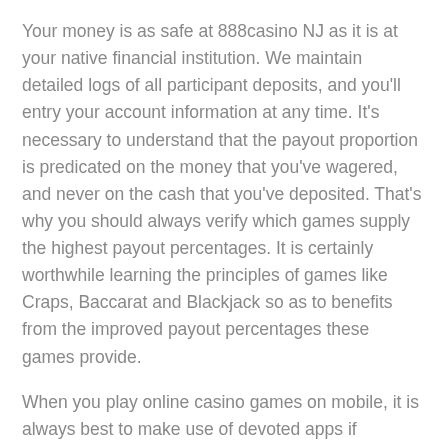Your money is as safe at 888casino NJ as it is at your native financial institution. We maintain detailed logs of all participant deposits, and you'll entry your account information at any time. It's necessary to understand that the payout proportion is predicated on the money that you've wagered, and never on the cash that you've deposited. That's why you should always verify which games supply the highest payout percentages. It is certainly worthwhile learning the principles of games like Craps, Baccarat and Blackjack so as to benefits from the improved payout percentages these games provide.
When you play online casino games on mobile, it is always best to make use of devoted apps if obtainable. This ensures the absolute best online on line casino experience, with optimal gameplay on each spin, each deal, and every draw. These embody video games which are available to players in demo play mode, no download, no registration. As a demo mode participant, you probably can check out a game's